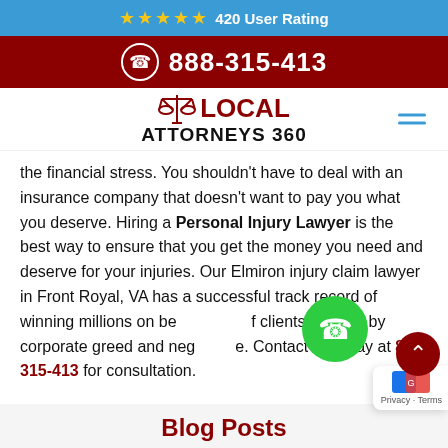★★★★★ 420 User Rating
888-315-413
[Figure (logo): Local Attorneys 360 logo with scales of justice icon]
the financial stress. You shouldn't have to deal with an insurance company that doesn't want to pay you what you deserve. Hiring a Personal Injury Lawyer is the best way to ensure that you get the money you need and deserve for your injuries. Our Elmiron injury claim lawyer in Front Royal, VA has a successful track record of winning millions on behalf of clients harmed by corporate greed and negligence. Contact us today at 888-315-413 for consultation.
Blog Posts